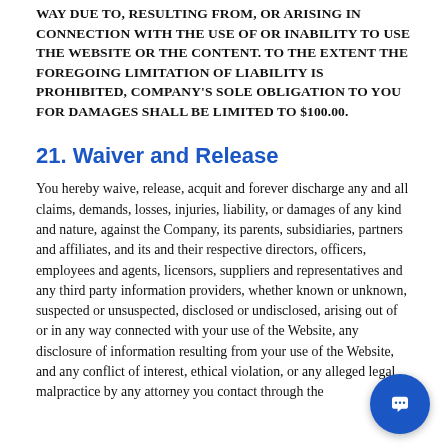WAY DUE TO, RESULTING FROM, OR ARISING IN CONNECTION WITH THE USE OF OR INABILITY TO USE THE WEBSITE OR THE CONTENT. TO THE EXTENT THE FOREGOING LIMITATION OF LIABILITY IS PROHIBITED, COMPANY'S SOLE OBLIGATION TO YOU FOR DAMAGES SHALL BE LIMITED TO $100.00.
21. Waiver and Release
You hereby waive, release, acquit and forever discharge any and all claims, demands, losses, injuries, liability, or damages of any kind and nature, against the Company, its parents, subsidiaries, partners and affiliates, and its and their respective directors, officers, employees and agents, licensors, suppliers and representatives and any third party information providers, whether known or unknown, suspected or unsuspected, disclosed or undisclosed, arising out of or in any way connected with your use of the Website, any disclosure of information resulting from your use of the Website, and any conflict of interest, ethical violation, or any alleged legal malpractice by any attorney you contact through the